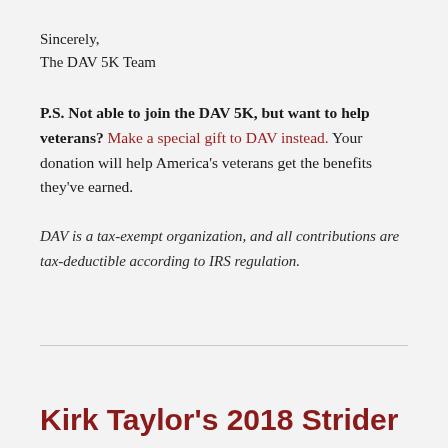Sincerely,
The DAV 5K Team
P.S. Not able to join the DAV 5K, but want to help veterans? Make a special gift to DAV instead. Your donation will help America's veterans get the benefits they've earned.
DAV is a tax-exempt organization, and all contributions are tax-deductible according to IRS regulation.
Kirk Taylor's 2018 Strider